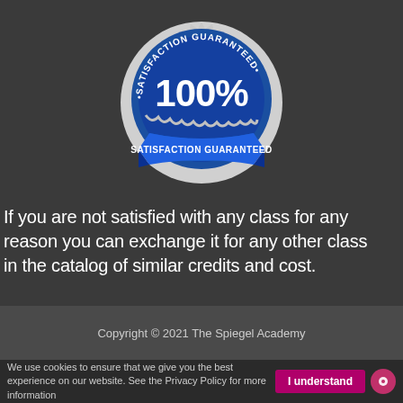[Figure (logo): Blue and silver satisfaction guaranteed seal/badge with '100%' in large text and 'SATISFACTION GUARANTEED' text on a ribbon banner]
If you are not satisfied with any class for any reason you can exchange it for any other class in the catalog of similar credits and cost.
Copyright © 2021 The Spiegel Academy
We use cookies to ensure that we give you the best experience on our website. See the Privacy Policy for more information
I understand